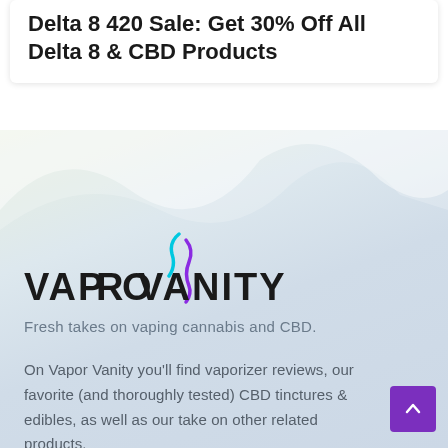Delta 8 420 Sale: Get 30% Off All Delta 8 & CBD Products
[Figure (illustration): Soft gradient background with mountain silhouette shapes in muted blue-green tones]
[Figure (logo): Vapor Vanity logo with stylized vapor swirl icon in cyan and purple above the wordmark]
Fresh takes on vaping cannabis and CBD.
On Vapor Vanity you'll find vaporizer reviews, our favorite (and thoroughly tested) CBD tinctures & edibles, as well as our take on other related products.